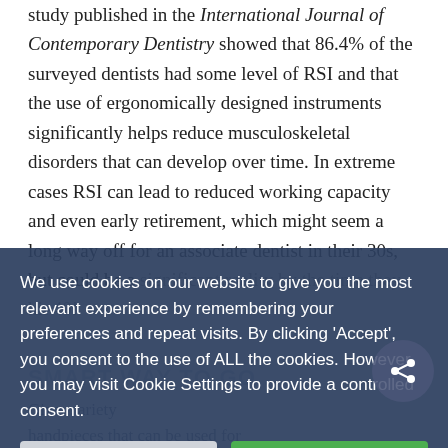study published in the International Journal of Contemporary Dentistry showed that 86.4% of the surveyed dentists had some level of RSI and that the use of ergonomically designed instruments significantly helps reduce musculoskeletal disorders that can develop over time. In extreme cases RSI can lead to reduced working capacity and even early retirement, which might seem a long way off for an associate dentist in their 30s, but could be a significant reality by the time they hit 40!
We use cookies on our website to give you the most relevant experience by remembering your preferences and repeat visits. By clicking 'Accept', you consent to the use of ALL the cookies. However you may visit Cookie Settings to provide a controlled consent.
SMART WAY TO GO ...
Give... variety handpieces that can be used for